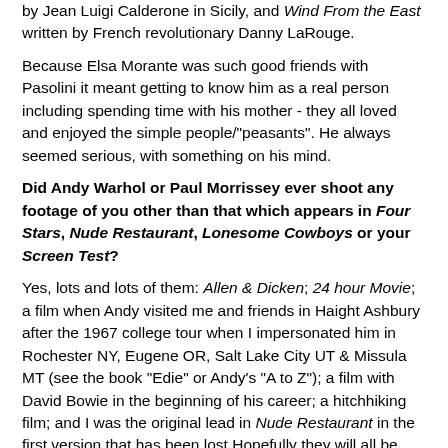by Jean Luigi Calderone in Sicily, and Wind From the East written by French revolutionary Danny LaRouge.
Because Elsa Morante was such good friends with Pasolini it meant getting to know him as a real person including spending time with his mother - they all loved and enjoyed the simple people/"peasants". He always seemed serious, with something on his mind.
Did Andy Warhol or Paul Morrissey ever shoot any footage of you other than that which appears in Four Stars, Nude Restaurant, Lonesome Cowboys or your Screen Test?
Yes, lots and lots of them: Allen & Dicken; 24 hour Movie; a film when Andy visited me and friends in Haight Ashbury after the 1967 college tour when I impersonated him in Rochester NY, Eugene OR, Salt Lake City UT & Missula MT (see the book "Edie" or Andy's "A to Z"); a film with David Bowie in the beginning of his career; a hitchhiking film; and I was the original lead in Nude Restaurant in the first version that has been lost Hopefully they will all be released on video and dvd